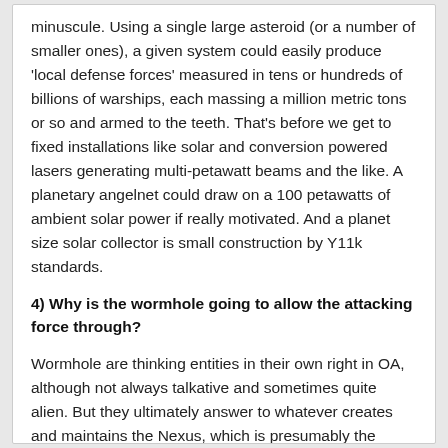minuscule. Using a single large asteroid (or a number of smaller ones), a given system could easily produce 'local defense forces' measured in tens or hundreds of billions of warships, each massing a million metric tons or so and armed to the teeth. That's before we get to fixed installations like solar and conversion powered lasers generating multi-petawatt beams and the like. A planetary angelnet could draw on a 100 petawatts of ambient solar power if really motivated. And a planet size solar collector is small construction by Y11k standards.
4) Why is the wormhole going to allow the attacking force through?
Wormhole are thinking entities in their own right in OA, although not always talkative and sometimes quite alien. But they ultimately answer to whatever creates and maintains the Nexus, which is presumably the ruling S6 archai. So, if your attack fleet wants to pass through the gate,they will need it's permission to do so. And why is it going to provide that?